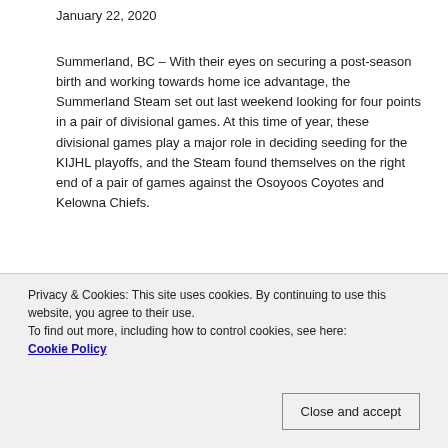January 22, 2020
Summerland, BC – With their eyes on securing a post-season birth and working towards home ice advantage, the Summerland Steam set out last weekend looking for four points in a pair of divisional games. At this time of year, these divisional games play a major role in deciding seeding for the KIJHL playoffs, and the Steam found themselves on the right end of a pair of games against the Osoyoos Coyotes and Kelowna Chiefs.
They hosted the Coyotes on Friday at the Summerland Arena, looking to make the Coyotes playoffs hopes a far-fetched dream, the possibility. Nine points...
Privacy & Cookies: This site uses cookies. By continuing to use this website, you agree to their use.
To find out more, including how to control cookies, see here: Cookie Policy
Close and accept